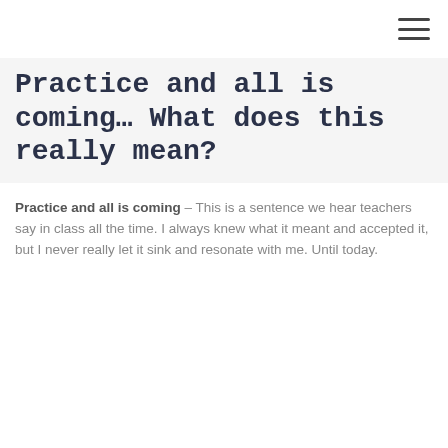Practice and all is coming… What does this really mean?
Practice and all is coming – This is a sentence we hear teachers say in class all the time. I always knew what it meant and accepted it, but I never really let it sink and resonate with me. Until today.